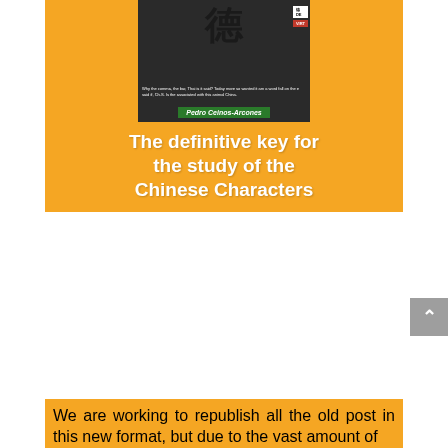[Figure (illustration): Book cover with orange background, Chinese character at top, dark photo of person behind, author name Pedro Ceinos-Arcones in green banner, white bold text reading 'The definitive key for the study of the Chinese Characters']
We are working to republish all the old post in this new format, but due to the vast amount of